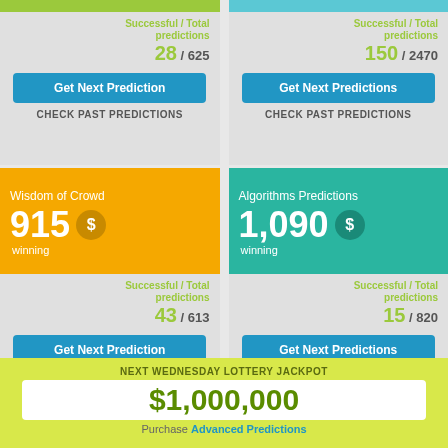Successful / Total predictions 28 / 625
Successful / Total predictions 150 / 2470
Get Next Prediction
Get Next Predictions
CHECK PAST PREDICTIONS
CHECK PAST PREDICTIONS
Wisdom of Crowd
915 $ winning
Algorithms Predictions
1,090 $ winning
Successful / Total predictions 43 / 613
Successful / Total predictions 15 / 820
Get Next Prediction
Get Next Predictions
CHECK PAST PREDICTIONS
CHECK PAST PREDICTIONS
NEXT WEDNESDAY LOTTERY JACKPOT
$1,000,000
Purchase Advanced Predictions